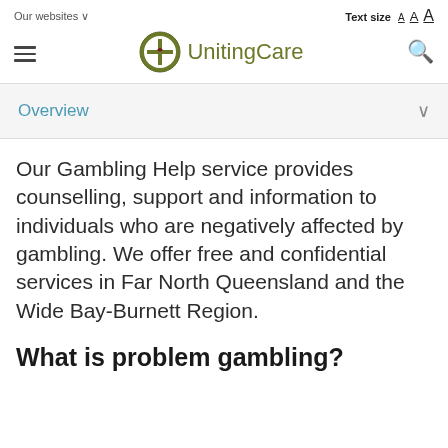Our websites ∨     Text size A A A
[Figure (logo): UnitingCare logo with circular emblem and text 'UnitingCare' in olive green]
Overview
Our Gambling Help service provides counselling, support and information to individuals who are negatively affected by gambling. We offer free and confidential services in Far North Queensland and the Wide Bay-Burnett Region.
What is problem gambling?